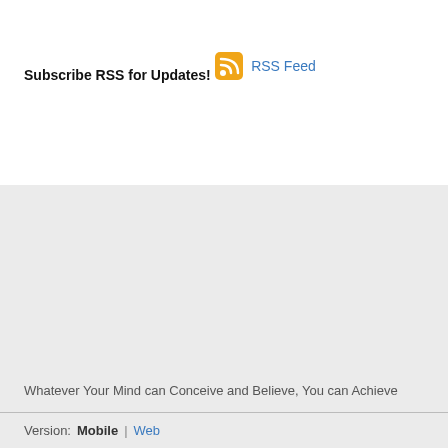Subscribe RSS for Updates!
RSS Feed
Whatever Your Mind can Conceive and Believe, You can Achieve
Version:  Mobile | Web